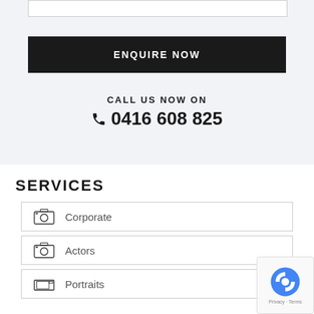[Figure (screenshot): Input text box at the top of the page (partially visible)]
ENQUIRE NOW
CALL US NOW ON
📞 0416 608 825
SERVICES
Corporate
Actors
Portraits